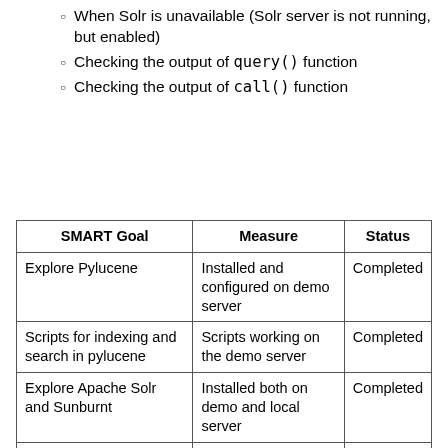When Solr is unavailable (Solr server is not running, but enabled)
Checking the output of query() function
Checking the output of call() function
| SMART Goal | Measure | Status |
| --- | --- | --- |
| Explore Pylucene | Installed and configured on demo server | Completed |
| Scripts for indexing and search in pylucene | Scripts working on the demo server | Completed |
| Explore Apache Solr and Sunburnt | Installed both on demo and local server | Completed |
| Scripts for indexing and search for sunburnt | Working scripts for sunburnt ready | Completed |
| Asynchronously Indexing and Deleting Document | Implemented & Integrated in Sahana Eden | Completed |